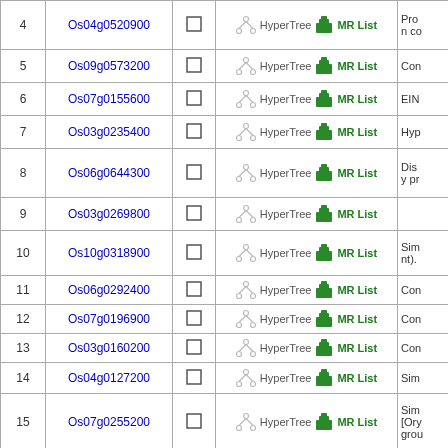| # | Gene ID | Select | Links | Description |
| --- | --- | --- | --- | --- |
| 4 | Os04g0520900 |  | HyperTree MR List | Pro n co |
| 5 | Os09g0573200 |  | HyperTree MR List | Con |
| 6 | Os07g0155600 |  | HyperTree MR List | EIN |
| 7 | Os03g0235400 |  | HyperTree MR List | Hyp |
| 8 | Os06g0644300 |  | HyperTree MR List | Dis y pr |
| 9 | Os03g0269800 |  | HyperTree MR List |  |
| 10 | Os10g0318900 |  | HyperTree MR List | Sim nt). |
| 11 | Os06g0292400 |  | HyperTree MR List | Con |
| 12 | Os07g0196900 |  | HyperTree MR List | Con |
| 13 | Os03g0160200 |  | HyperTree MR List | Con |
| 14 | Os04g0127200 |  | HyperTree MR List | Sim |
| 15 | Os07g0255200 |  | HyperTree MR List | Sim [Ory grou |